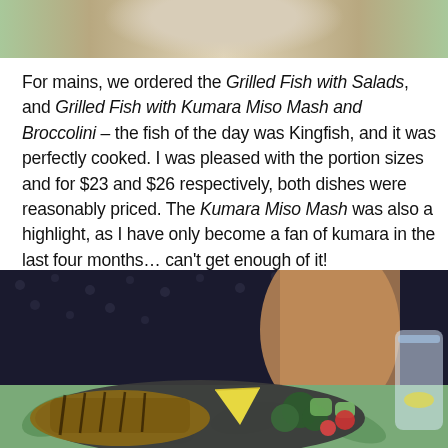[Figure (photo): Partial photo of a bowl or plate with food, cropped at top of page]
For mains, we ordered the Grilled Fish with Salads, and Grilled Fish with Kumara Miso Mash and Broccolini – the fish of the day was Kingfish, and it was perfectly cooked. I was pleased with the portion sizes and for $23 and $26 respectively, both dishes were reasonably priced. The Kumara Miso Mash was also a highlight, as I have only become a fan of kumara in the last four months... can't get enough of it!
[Figure (photo): Photo of a grilled fish dish on a dark plate with broccoli, avocado, tomatoes, a lemon wedge, served on a green tropical leaf patterned placemat, with a glass of water and dark polka dot background]